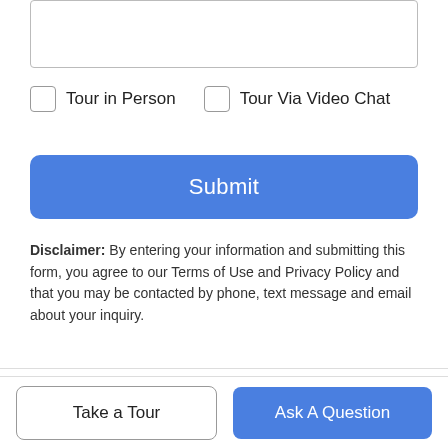Tour in Person
Tour Via Video Chat
Submit
Disclaimer: By entering your information and submitting this form, you agree to our Terms of Use and Privacy Policy and that you may be contacted by phone, text message and email about your inquiry.
Based on information from CRISNet MLS as of 2022-09-01T12:43:00.167. All data, including all measurements and calculations of area, is obtained from various sources and has not been, and will not be, verified by broker or MLS. All information should be independently reviewed and verified for accuracy. Properties may or may not be listed by the office/agent presenting the information. The listing broker's offer of compensation is made
Take a Tour
Ask A Question